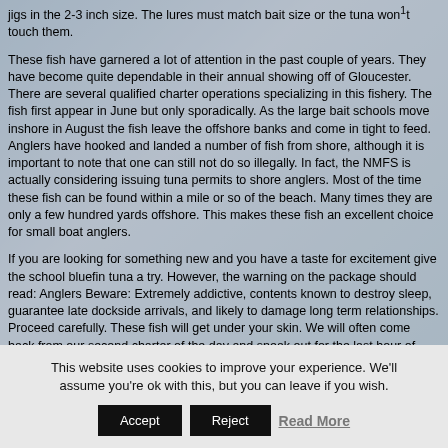jigs in the 2-3 inch size. The lures must match bait size or the tuna won¹t touch them.

These fish have garnered a lot of attention in the past couple of years. They have become quite dependable in their annual showing off of Gloucester. There are several qualified charter operations specializing in this fishery. The fish first appear in June but only sporadically. As the large bait schools move inshore in August the fish leave the offshore banks and come in tight to feed. Anglers have hooked and landed a number of fish from shore, although it is important to note that one can still not do so illegally. In fact, the NMFS is actually considering issuing tuna permits to shore anglers. Most of the time these fish can be found within a mile or so of the beach. Many times they are only a few hundred yards offshore. This makes these fish an excellent choice for small boat anglers.

If you are looking for something new and you have a taste for excitement give the school bluefin tuna a try. However, the warning on the package should read: Anglers Beware: Extremely addictive, contents known to destroy sleep, guarantee late dockside arrivals, and likely to damage long term relationships. Proceed carefully. These fish will get under your skin. We will often come back from our second charter of the day and sneak out for the last hour of light just to get another shot at these fish.
This website uses cookies to improve your experience. We'll assume you're ok with this, but you can leave if you wish.